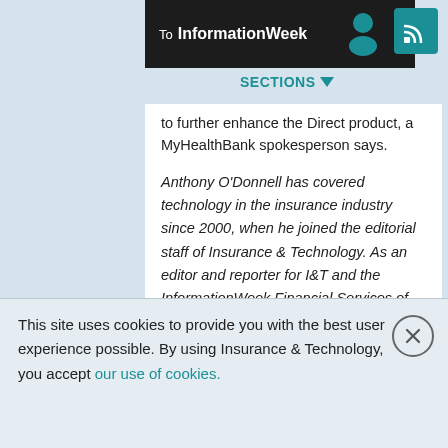To InformationWeek | SECTIONS
to further enhance the Direct product, a MyHealthBank spokesperson says.
Anthony O'Donnell has covered technology in the insurance industry since 2000, when he joined the editorial staff of Insurance & Technology. As an editor and reporter for I&T and the InformationWeek Financial Services of TechWeb he has written on all areas of information ... View Full Bio
This site uses cookies to provide you with the best user experience possible. By using Insurance & Technology, you accept our use of cookies.